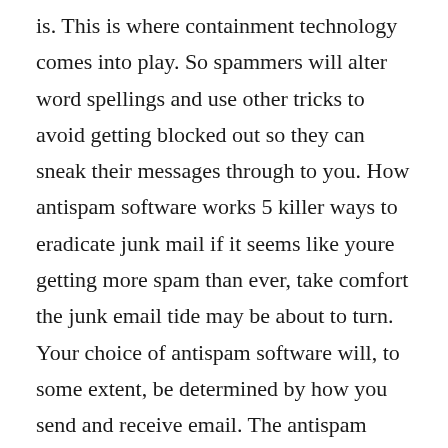is. This is where containment technology comes into play. So spammers will alter word spellings and use other tricks to avoid getting blocked out so they can sneak their messages through to you. How antispam software works 5 killer ways to eradicate junk mail if it seems like youre getting more spam than ever, take comfort the junk email tide may be about to turn. Your choice of antispam software will, to some extent, be determined by how you send and receive email. The antispam engine available in various eset products assigns a. Does windows 7 have security from viruses